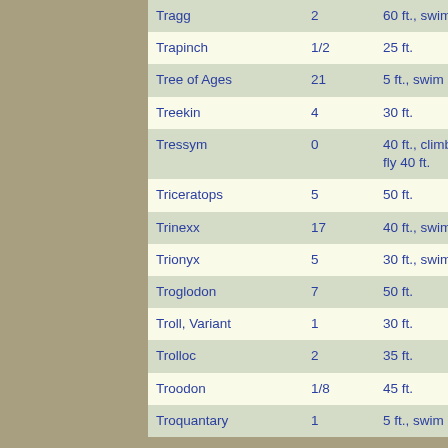| Name | CR | Speed |
| --- | --- | --- |
| Tragg | 2 | 60 ft., swim 20 ft. |
| Trapinch | 1/2 | 25 ft. |
| Tree of Ages | 21 | 5 ft., swim 60 ft. |
| Treekin | 4 | 30 ft. |
| Tressym | 0 | 40 ft., climb 30 ft., fly 40 ft. |
| Triceratops | 5 | 50 ft. |
| Trinexx | 17 | 40 ft., swim 40 ft. |
| Trionyx | 5 | 30 ft., swim 30 ft. |
| Troglodon | 7 | 50 ft. |
| Troll, Variant | 1 | 30 ft. |
| Trolloc | 2 | 35 ft. |
| Troodon | 1/8 | 45 ft. |
| Troquantary | 1 | 5 ft., swim 30 ft. |